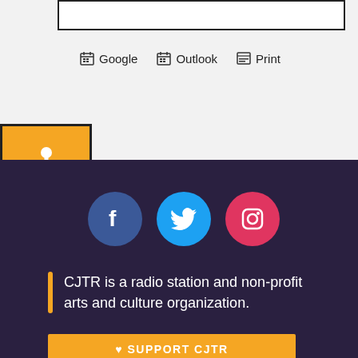[Figure (screenshot): White rectangle box outline at top of page]
Google  Outlook  Print
[Figure (illustration): Orange accessibility icon button with person/wheelchair symbol]
[Figure (illustration): Social media icons: Facebook (blue circle), Twitter (blue circle), Instagram (pink-red circle)]
CJTR is a radio station and non-profit arts and culture organization.
SUPPORT CJTR